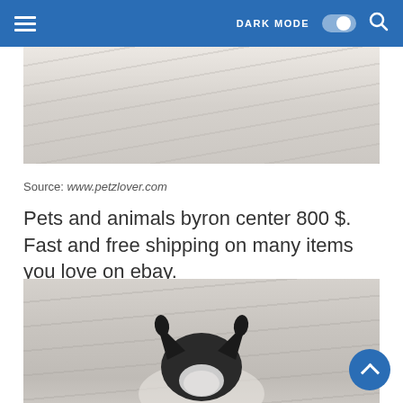DARK MODE [toggle] [search]
[Figure (photo): Close-up photo of a light grey/beige fabric or bedding surface with soft wrinkles and texture]
Source: www.petzlover.com
Pets and animals byron center 800 $. Fast and free shipping on many items you love on ebay.
[Figure (photo): Photo showing the top of a black and white dog's head (appears to be a French Bulldog or Boston Terrier) with ears visible, lying on light grey/white bedding]